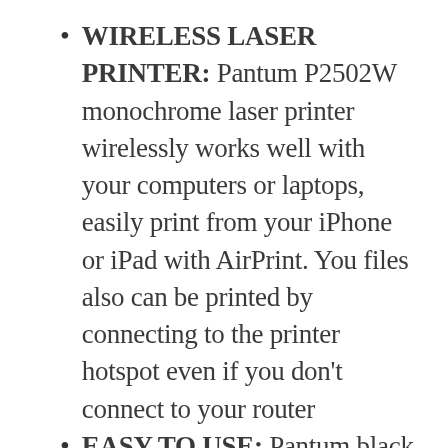WIRELESS LASER PRINTER: Pantum P2502W monochrome laser printer wirelessly works well with your computers or laptops, easily print from your iPhone or iPad with AirPrint. You files also can be printed by connecting to the printer hotspot even if you don't connect to your router
EASY TO USE: Pantum black and white laser printer support Windows and Mac system and print 23 pages per minute can greatly meet your needs. Easy one-step